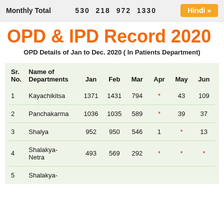Monthly Total  530  218  972  1330  Hindi »
OPD & IPD Record 2020
OPD Details of Jan to Dec. 2020 ( In Patients Department)
| Sr. No. | Name of Departments | Jan | Feb | Mar | Apr | May | Jun |
| --- | --- | --- | --- | --- | --- | --- | --- |
| 1 | Kayachikitsa | 1371 | 1431 | 794 | * | 43 | 109 |
| 2 | Panchakarma | 1036 | 1035 | 589 | * | 39 | 37 |
| 3 | Shalya | 952 | 950 | 546 | 1 | * | 13 |
| 4 | Shalakya-Netra | 493 | 569 | 292 | * | * | * |
| 5 | Shalakya- |  |  |  |  |  |  |